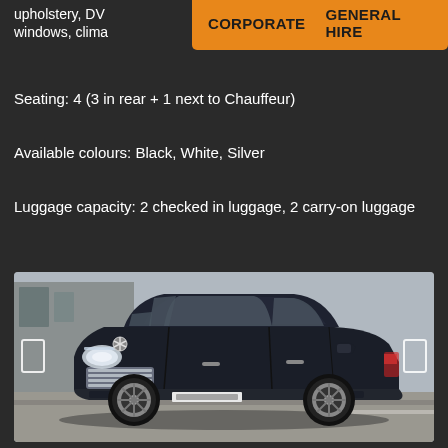upholstery, DVD... tinted windows, clima...
CORPORATE   GENERAL HIRE
Seating: 4 (3 in rear + 1 next to Chauffeur)
Available colours: Black, White, Silver
Luggage capacity: 2 checked in luggage, 2 carry-on luggage
[Figure (photo): Black Mercedes-Benz S-Class luxury sedan photographed from a slight front-left angle on a street, with navigation arrows on left and right sides of the image.]